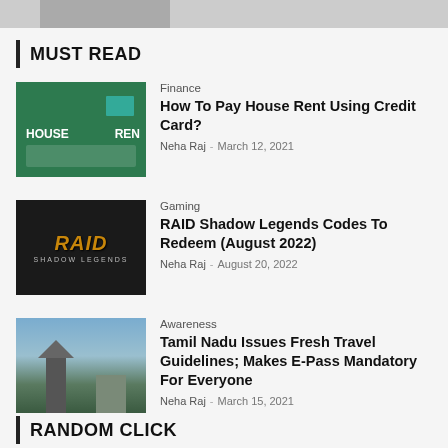[Figure (screenshot): Partial top image strip showing a cropped image thumbnail]
MUST READ
[Figure (photo): Finance article thumbnail: house rent credit card - green background with property/travel images]
Finance
How To Pay House Rent Using Credit Card?
Neha Raj – March 12, 2021
[Figure (photo): Gaming article thumbnail: RAID Shadow Legends dark logo image]
Gaming
RAID Shadow Legends Codes To Redeem (August 2022)
Neha Raj – August 20, 2022
[Figure (photo): Awareness article thumbnail: Tamil Nadu temple gopuram cityscape photo]
Awareness
Tamil Nadu Issues Fresh Travel Guidelines; Makes E-Pass Mandatory For Everyone
Neha Raj – March 15, 2021
RANDOM CLICK